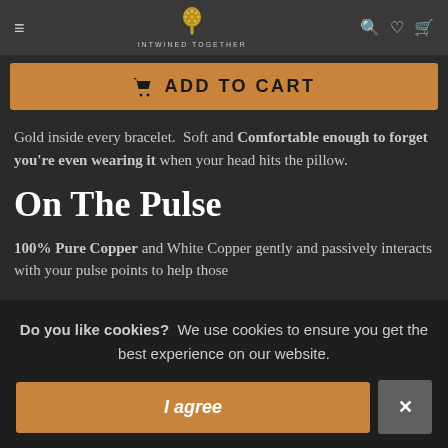INTWINED TOGETHER — navigation header with hamburger menu, logo/tree icon, search, wishlist, and cart icons
[Figure (screenshot): Orange Add to Cart button with shopping cart icon]
Gold inside every bracelet. Soft and Comfortable enough to forget you're even wearing it when your head hits the pillow.
On The Pulse
100% Pure Copper and White Copper gently and passively interacts with your pulse points to help those
Do you like cookies? We use cookies to ensure you get the best experience on our website.
I agree
×